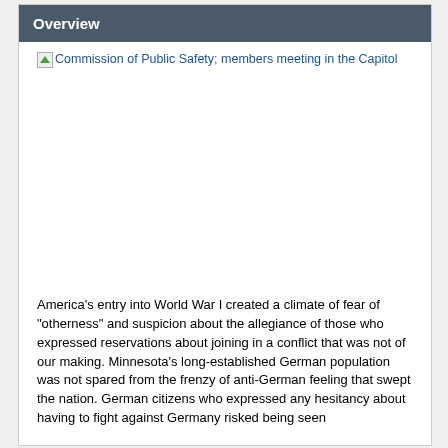Overview
[Figure (photo): Commission of Public Safety; members meeting in the Capitol — broken image link placeholder]
America's entry into World War I created a climate of fear of "otherness" and suspicion about the allegiance of those who expressed reservations about joining in a conflict that was not of our making. Minnesota's long-established German population was not spared from the frenzy of anti-German feeling that swept the nation. German citizens who expressed any hesitancy about having to fight against Germany risked being seen